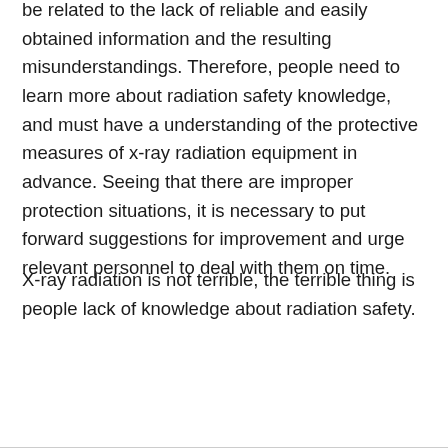be related to the lack of reliable and easily obtained information and the resulting misunderstandings. Therefore, people need to learn more about radiation safety knowledge, and must have a understanding of the protective measures of x-ray radiation equipment in advance. Seeing that there are improper protection situations, it is necessary to put forward suggestions for improvement and urge relevant personnel to deal with them on time.
X-ray radiation is not terrible, the terrible thing is people lack of knowledge about radiation safety.